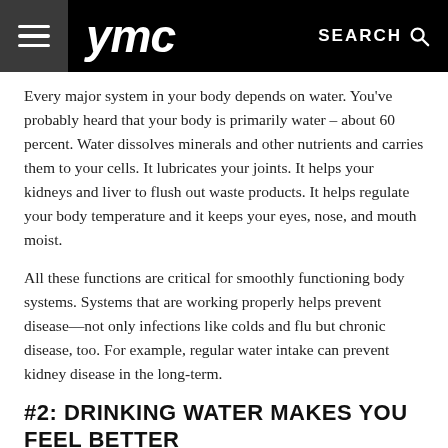ymc  SEARCH
Every major system in your body depends on water. You've probably heard that your body is primarily water – about 60 percent. Water dissolves minerals and other nutrients and carries them to your cells. It lubricates your joints. It helps your kidneys and liver to flush out waste products. It helps regulate your body temperature and it keeps your eyes, nose, and mouth moist.
All these functions are critical for smoothly functioning body systems. Systems that are working properly helps prevent disease—not only infections like colds and flu but chronic disease, too. For example, regular water intake can prevent kidney disease in the long-term.
#2: DRINKING WATER MAKES YOU FEEL BETTER
A lot of us walk around with a mild degree of dehydration, without even realizing it. Even mild dehydration can sap your